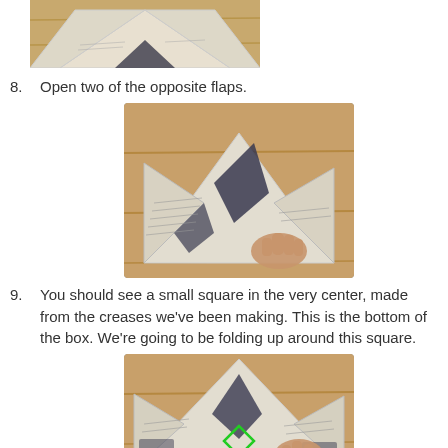[Figure (photo): Top partial photo of folded newspaper origami box, cropped at top showing triangular flaps on wooden floor surface]
8. Open two of the opposite flaps.
[Figure (photo): Photo of hands opening two opposite flaps of a folded newspaper origami box on a wooden floor]
9. You should see a small square in the very center, made from the creases we've been making. This is the bottom of the box. We're going to be folding up around this square.
[Figure (photo): Photo of folded newspaper origami box laid flat on wooden floor, with a green diamond/square shape highlighted in the center showing the bottom of the box]